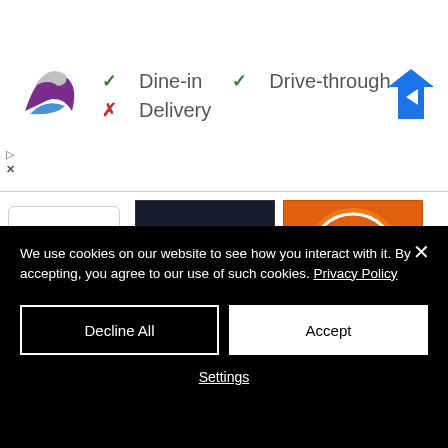[Figure (screenshot): Taco Bell logo with dine-in, drive-through, delivery options and a Google Maps navigation icon]
[Figure (photo): Book cover: The Baking Bible by Rose Levy Beranbaum, dark background with bread image]
The Baking Bible
[Figure (photo): Arm & Hammer Pure Baking Soda 8 Ounce box, orange packaging]
Arm & Hammer Pure Baking Soda, 8 Ounce (...
We use cookies on our website to see how you interact with it. By accepting, you agree to our use of such cookies. Privacy Policy
Decline All
Accept
Settings